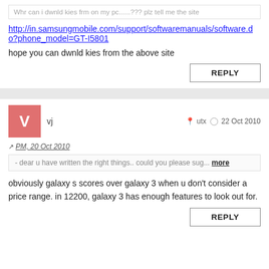Whr can i dwnld kies frm on my pc......??? plz tell me the site
http://in.samsungmobile.com/support/softwaremanuals/software.do?phone_model=GT-I5801
hope you can dwnld kies from the above site
vj   utx   22 Oct 2010
PM, 20 Oct 2010
- dear u have written the right things.. could you please sug... more
obviously galaxy s scores over galaxy 3 when u don't consider a price range. in 12200, galaxy 3 has enough features to look out for.